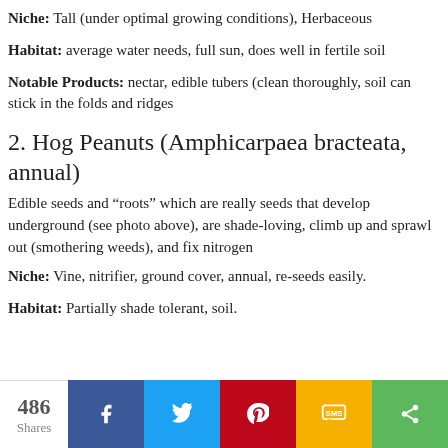Niche: Tall (under optimal growing conditions), Herbaceous
Habitat: average water needs, full sun, does well in fertile soil
Notable Products: nectar, edible tubers (clean thoroughly, soil can stick in the folds and ridges
2. Hog Peanuts (Amphicarpaea bracteata, annual)
Edible seeds and “roots” which are really seeds that develop underground (see photo above), are shade-loving, climb up and sprawl out (smothering weeds), and fix nitrogen
Niche: Vine, nitrifier, ground cover, annual, re-seeds easily.
Habitat: Partially shade tolerant, soil.